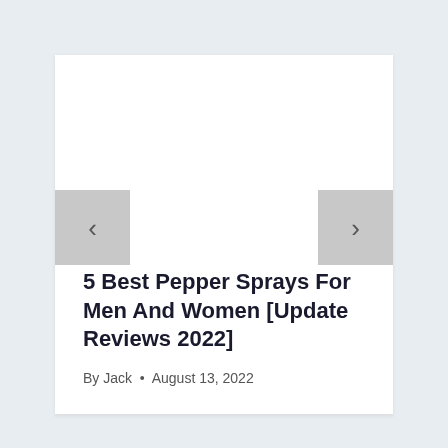[Figure (other): Light gray image placeholder area at top of card]
5 Best Pepper Sprays For Men And Women [Update Reviews 2022]
By Jack • August 13, 2022